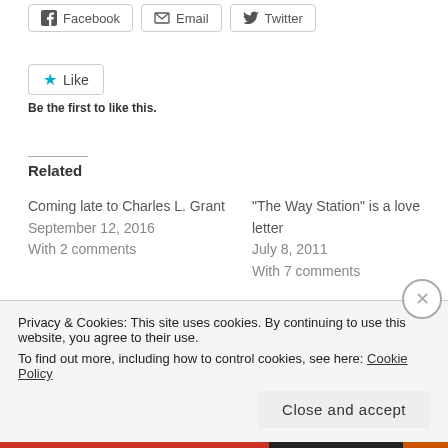[Figure (other): Social share buttons: Facebook, Email, Twitter]
[Figure (other): Like button with star icon]
Be the first to like this.
Related
Coming late to Charles L. Grant
September 12, 2016
With 2 comments
“The Way Station” is a love letter
July 8, 2011
With 7 comments
Sleep dread; or, the yearning for absolute love
April 5, 2012
Privacy & Cookies: This site uses cookies. By continuing to use this website, you agree to their use.
To find out more, including how to control cookies, see here: Cookie Policy
Close and accept